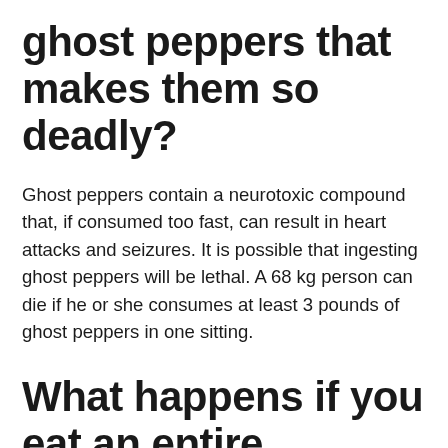ghost peppers that makes them so deadly?
Ghost peppers contain a neurotoxic compound that, if consumed too fast, can result in heart attacks and seizures. It is possible that ingesting ghost peppers will be lethal. A 68 kg person can die if he or she consumes at least 3 pounds of ghost peppers in one sitting.
What happens if you eat an entire